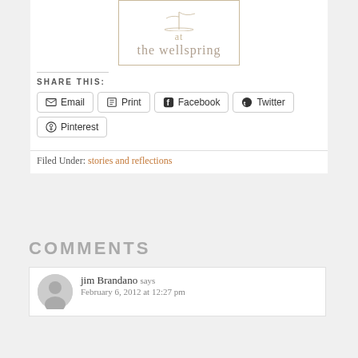[Figure (logo): Logo for 'at the wellspring' with a plant/reed illustration inside a beige bordered box]
SHARE THIS:
Email  Print  Facebook  Twitter  Pinterest (share buttons)
Filed Under: stories and reflections
COMMENTS
jim Brandano says
February 6, 2012 at 12:27 pm